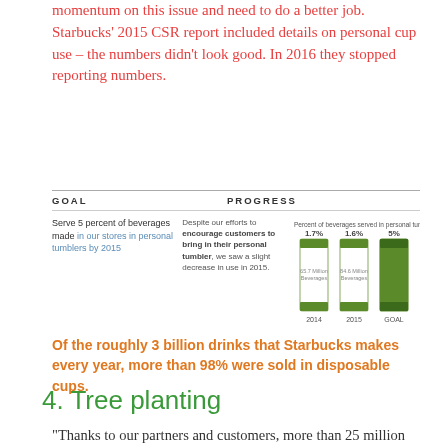momentum on this issue and need to do a better job. Starbucks' 2015 CSR report included details on personal cup use – the numbers didn't look good. In 2016 they stopped reporting numbers.
[Figure (bar-chart): Percent of beverages served in personal tumblers]
Of the roughly 3 billion drinks that Starbucks makes every year, more than 98% were sold in disposable cups.
4. Tree planting
“Thanks to our partners and customers, more than 25 million trees have been donated to coffee